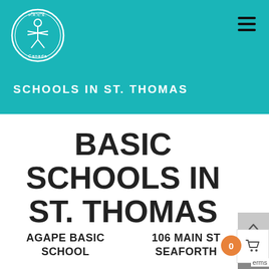[Figure (logo): P.A.C.E. Canada circular logo with figure and text, white on teal background]
SCHOOLS IN ST. THOMAS
BASIC SCHOOLS IN ST. THOMAS
AGAPE BASIC SCHOOL
106 MAIN ST SEAFORTH